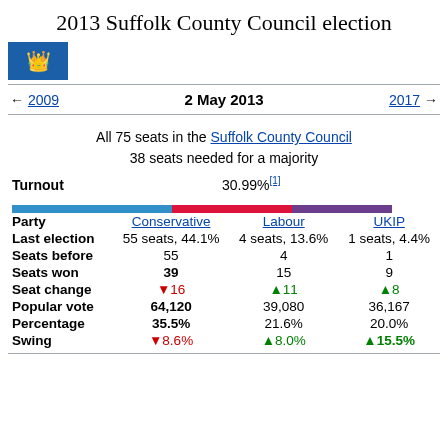2013 Suffolk County Council election
[Figure (illustration): Suffolk County Council coat of arms / flag — blue background with gold crown]
← 2009   2 May 2013   2017 →
All 75 seats in the Suffolk County Council
38 seats needed for a majority
Turnout   30.99%[1]
| Party | Conservative | Labour | UKIP |
| --- | --- | --- | --- |
| Last election | 55 seats, 44.1% | 4 seats, 13.6% | 1 seats, 4.4% |
| Seats before | 55 | 4 | 1 |
| Seats won | 39 | 15 | 9 |
| Seat change | ▼16 | ▲11 | ▲8 |
| Popular vote | 64,120 | 39,080 | 36,167 |
| Percentage | 35.5% | 21.6% | 20.0% |
| Swing | ▼8.6% | ▲8.0% | ▲15.5% |